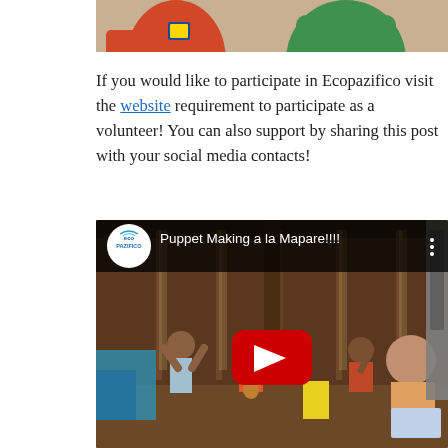[Figure (photo): Top portion of a photo showing people in colorful shirts (red and green)]
If you would like to participate in Ecopazifico visit the website requirement to participate as a volunteer! You can also support by sharing this post with your social media contacts!
[Figure (screenshot): YouTube video thumbnail showing 'Puppet Making a la Mapare!!!!' by Eco Pazifico channel. Scene shows children in an open wooden structure, one playing guitar, with a YouTube play button overlay.]